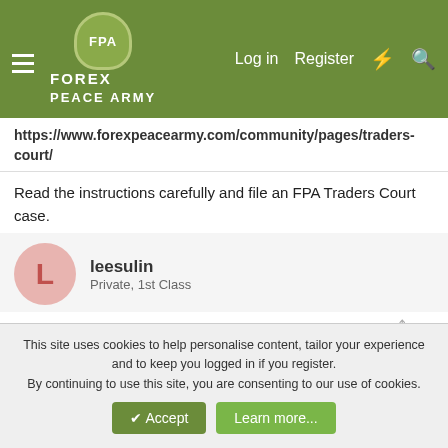FOREX PEACE ARMY
https://www.forexpeacearmy.com/community/pages/traders-court/
Read the instructions carefully and file an FPA Traders Court case.
leesulin
Private, 1st Class
Aug 30, 2016  #3
Pharaoh said:
This site uses cookies to help personalise content, tailor your experience and to keep you logged in if you register.
By continuing to use this site, you are consenting to our use of cookies.